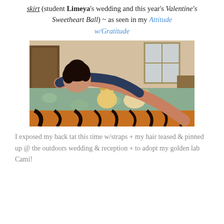skirt (student Limeya's wedding and this year's Valentine's Sweetheart Ball) ~ as seen in my Attitude w/Gratitude
[Figure (photo): A woman with dark hair pinned up, wearing a dark sleeveless top, leaning over a bed with a tiger-print blanket and light green floral bedding, hugging a small golden/yellow puppy (Cami). There are stuffed animals on the bed and a cluttered bedroom in the background.]
I exposed my back tat this time w/straps + my hair teased & pinned up @ the outdoors wedding & reception + to adopt my golden lab Cami!